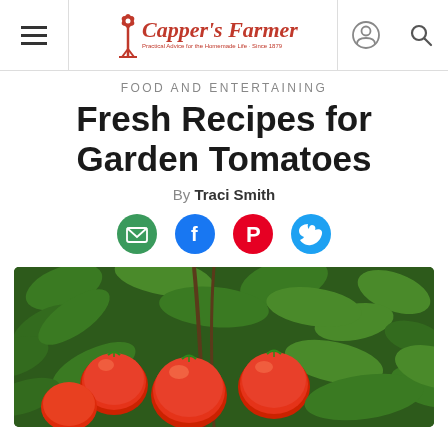Capper's Farmer
Food And Entertaining
Fresh Recipes for Garden Tomatoes
By Traci Smith
[Figure (photo): Red tomatoes growing on a vine with green leaves in a garden]
[Figure (infographic): Social sharing icons: email (green), Facebook (blue), Pinterest (red), Twitter (blue)]